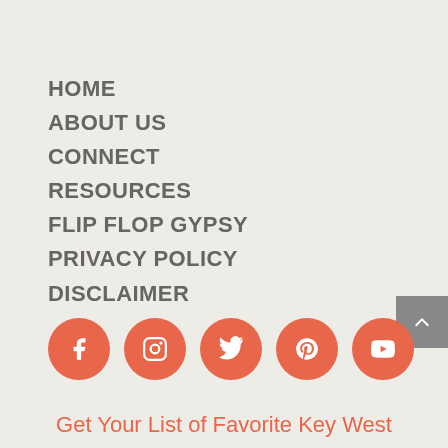HOME
ABOUT US
CONNECT
RESOURCES
FLIP FLOP GYPSY
PRIVACY POLICY
DISCLAIMER
[Figure (infographic): Five orange circular social media icons: Facebook, Instagram, Twitter, Pinterest, YouTube]
Get Your List of Favorite Key West Happy Hours!